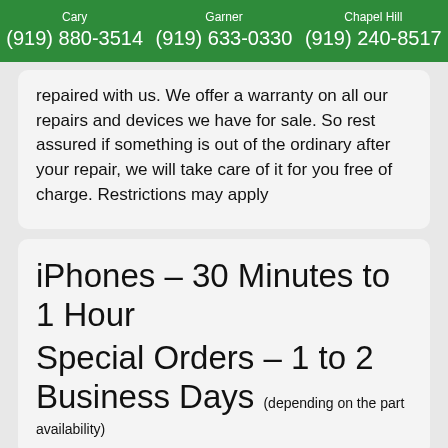Cary (919) 880-3514  Garner (919) 633-0330  Chapel Hill (919) 240-8517
repaired with us. We offer a warranty on all our repairs and devices we have for sale. So rest assured if something is out of the ordinary after your repair, we will take care of it for you free of charge. Restrictions may apply
iPhones – 30 Minutes to 1 Hour
Special Orders – 1 to 2 Business Days (depending on the part availability)